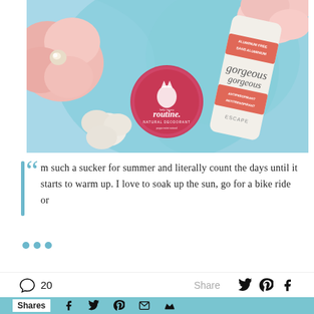[Figure (photo): Flatlay photo of natural deodorant products on teal fabric with pink flowers. Shows a round pink tin labeled 'routine. natural deodorant' and a white deodorant stick with coral/red bands labeled 'aluminum free', 'antiperspirant', and 'escape'.]
I'm such a sucker for summer and literally count the days until it starts to warm up. I love to soak up the sun, go for a bike ride or
... (read more ellipsis dots)
20  Share
Shares